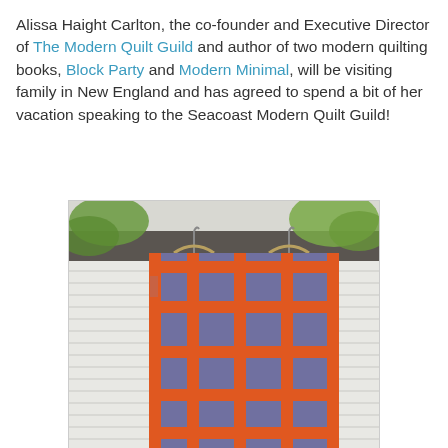Alissa Haight Carlton, the co-founder and Executive Director of The Modern Quilt Guild and author of two modern quilting books, Block Party and Modern Minimal, will be visiting family in New England and has agreed to spend a bit of her vacation speaking to the Seacoast Modern Quilt Guild!
[Figure (photo): A modern orange and grey/purple quilt hung outdoors on wooden hangers from a metal pipe against a white siding wall with green trees visible in the background.]